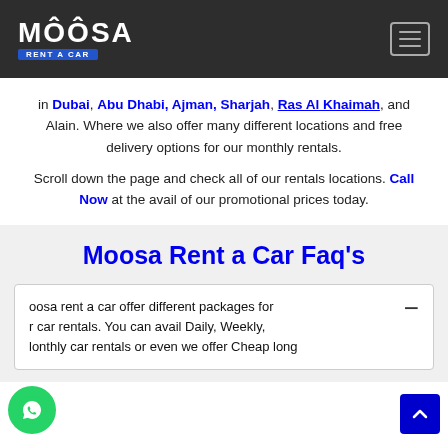MOOSA RENT A CAR
in Dubai, Abu Dhabi, Ajman, Sharjah, Ras Al Khaimah, and Alain. Where we also offer many different locations and free delivery options for our monthly rentals.
Scroll down the page and check all of our rentals locations. Call Now at the avail of our promotional prices today.
Moosa Rent a Car Faq's
Moosa rent a car offer different packages for our car rentals. You can avail Daily, Weekly, Monthly car rentals or even we offer Cheap long ...